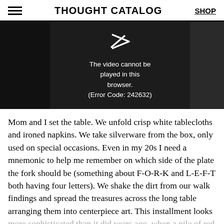THOUGHT CATALOG | SHOP
[Figure (screenshot): Video player error screen on black background with play icon and text: 'The video cannot be played in this browser. (Error Code: 242632)']
Mom and I set the table. We unfold crisp white tablecloths and ironed napkins. We take silverware from the box, only used on special occasions. Even in my 20s I need a mnemonic to help me remember on which side of the plate the fork should be (something about F-O-R-K and L-E-F-T both having four letters). We shake the dirt from our walk findings and spread the treasures across the long table arranging them into centerpiece art. This installment looks more sophisticated than it did years ago, when a pile of red leaves and a pinecone sat in the middle of the table and